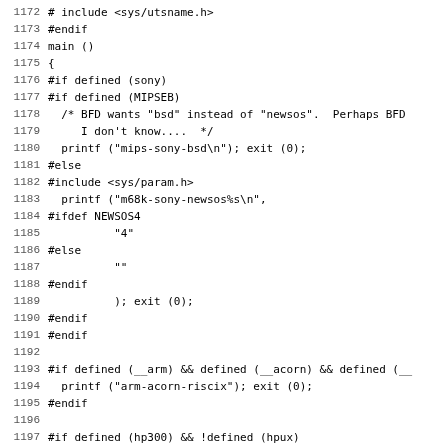Source code listing, lines 1172-1203, C preprocessor code for system architecture detection
[Figure (screenshot): C source code fragment with line numbers 1172-1203 showing preprocessor directives for detecting system architecture (sony, MIPSEB, arm, acorn, hp300, NeXT, etc.)]